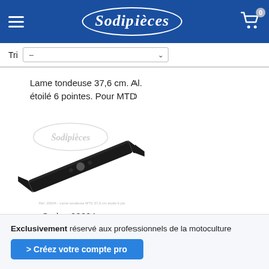Sodipièces
Tri  –
Lame tondeuse 37,6 cm. Al. étoilé 6 pointes. Pour MTD
[Figure (photo): Lawn mower blade, black metal, angled with star-shaped 6-point center hole, Sodipièces watermark in background]
Code : 20604
Exclusivement réservé aux professionnels de la motoculture
> Créez votre compte pro